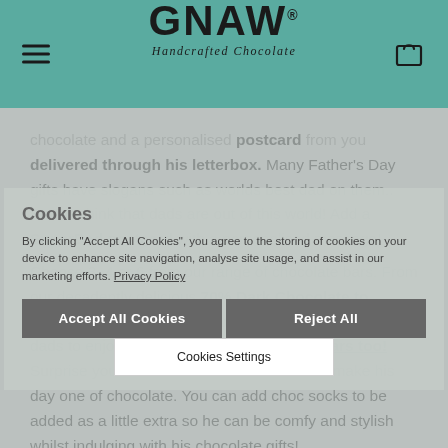[Figure (screenshot): GNAW Handcrafted Chocolate website header with teal background, hamburger menu icon on left, GNAW logo in center, shopping bag icon on right]
chocolate and a personalised postcard from you delivered through his letterbox. Many Father's Day gifts have slogans such as worlds best dad on them.. But we think that dads are out of this world! Add a SuperDad postcard with a personalised message!
Choose 3, 4 or 6 from our range of chocolate bars. From our decadently delicious 70% Dark Chocolate to Banoffee Pie Milk Chocolate we have flavours for all dads to enjoy, including vegan chocolate bars too! Surprise your dad with chocolate cheer and make his day one of chocolate. You can add choc socks to be added as a little extra so he can be comfy and stylish whilst indulging with his chocolate gifts!
Cookies
By clicking "Accept All Cookies", you agree to the storing of cookies on your device to enhance site navigation, analyse site usage, and assist in our marketing efforts. Privacy Policy
Accept All Cookies
Reject All
Cookies Settings